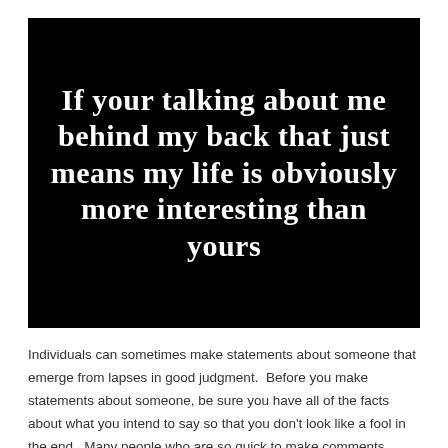[Figure (illustration): Black background image with white bold text reading: If your talking about me behind my back that just means my life is obviously more interesting than yours]
Individuals can sometimes make statements about someone that emerge from lapses in good judgment.  Before you make statements about someone, be sure you have all of the facts about what you intend to say so that you don't look like a fool in the end.  Many people who are so quick to make comments about someone don't